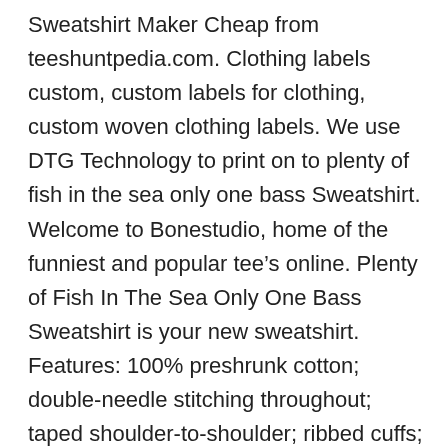Sweatshirt Maker Cheap from teeshuntpedia.com. Clothing labels custom, custom labels for clothing, custom woven clothing labels. We use DTG Technology to print on to plenty of fish in the sea only one bass Sweatshirt. Welcome to Bonestudio, home of the funniest and popular tee’s online. Plenty of Fish In The Sea Only One Bass Sweatshirt is your new sweatshirt. Features: 100% preshrunk cotton; double-needle stitching throughout; taped shoulder-to-shoulder; ribbed cuffs; „” collar; Ash Grey is 99/1; Sport Grey is 90/1; Dark Heather, Safety Green and Safety Orange are 50% cotton, 50% polyester; sizing. Jun 18, 2012- Explore kab1229’s board “There are plenty of fish in the sea but only one Chuck Bass”, followed by 102 people on Pinterest. See more ideas about Chuck bass, Ed